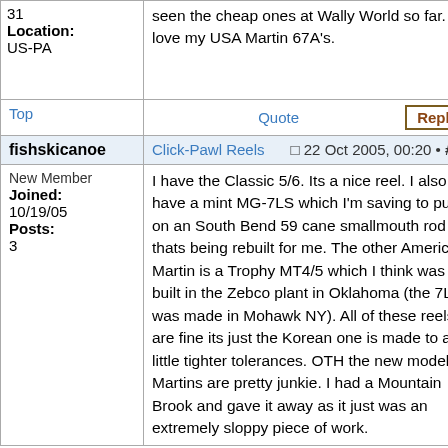seen the cheap ones at Wally World so far. I love my USA Martin 67A's.
31
Location: US-PA
Top | Quote | Reply
fishskicanoe | Click-Pawl Reels | 22 Oct 2005, 00:20 • #18
New Member
Joined: 10/19/05
Posts: 3
I have the Classic 5/6. Its a nice reel. I also have a mint MG-7LS which I'm saving to put on an South Bend 59 cane smallmouth rod thats being rebuilt for me. The other American Martin is a Trophy MT4/5 which I think was built in the Zebco plant in Oklahoma (the 7LS was made in Mohawk NY). All of these reels are fine its just the Korean one is made to a little tighter tolerances. OTH the new model Martins are pretty junkie. I had a Mountain Brook and gave it away as it just was an extremely sloppy piece of work.